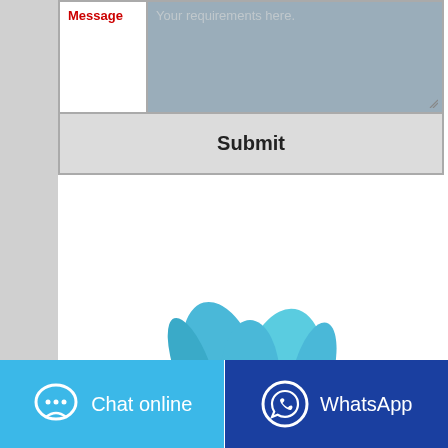[Figure (screenshot): A web contact form showing a 'Message' label in red on the left and a gray textarea with placeholder text 'Your requirements here.' on the right, followed by a Submit button below.]
[Figure (illustration): Partial illustration of blue handshake or hands graphic at the bottom center of the page.]
[Figure (screenshot): Two bottom navigation buttons: 'Chat online' on a cyan/light-blue background with a chat bubble icon, and 'WhatsApp' on a dark blue background with WhatsApp logo icon.]